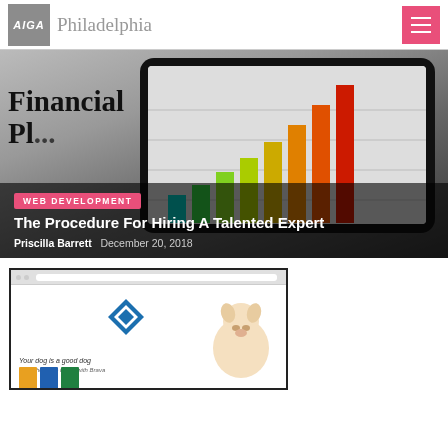AIGA Philadelphia
[Figure (screenshot): Hero image of a tablet displaying a colorful bar chart (financial planning theme), with overlaid text 'Financial Pl...' and article metadata]
WEB DEVELOPMENT
The Procedure For Hiring A Talented Expert
Priscilla Barrett   December 20, 2018
[Figure (screenshot): Screenshot of a website showing a dog food product page with a dog image and product packaging]